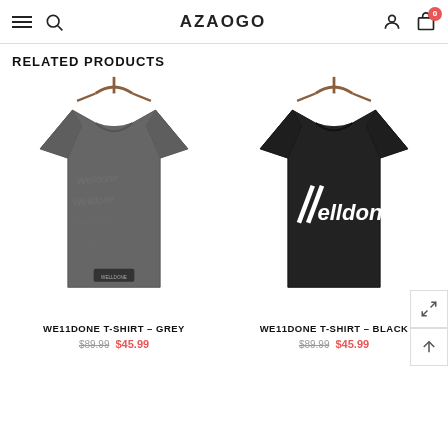AZAOGO
RELATED PRODUCTS
[Figure (photo): Grey t-shirt with embossed WE11DONE text repeated on back, hanging on wooden hanger]
WE11DONE T-SHIRT - GREY
$89.99  $45.99
[Figure (photo): Black t-shirt with white WE11DONE logo print on front, hanging on wooden hanger]
WE11DONE T-SHIRT - BLACK
$89.99  $45.99